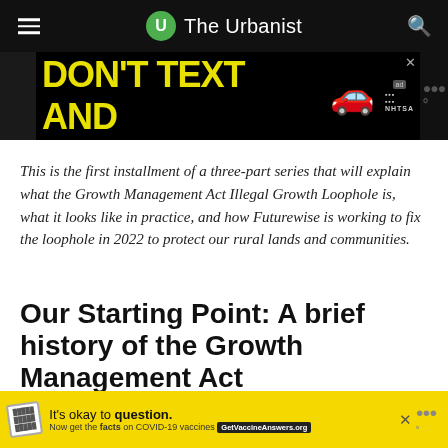The Urbanist
[Figure (other): DON'T TEXT AND [car emoji] advertisement banner by NHTSA]
This is the first installment of a three-part series that will explain what the Growth Management Act Illegal Growth Loophole is, what it looks like in practice, and how Futurewise is working to fix the loophole in 2022 to protect our rural lands and communities.
Our Starting Point: A brief history of the Growth Management Act
Before we can get into the loopholes, let's remind ou
[Figure (other): It's okay to question. Now get the facts on COVID-19 vaccines GetVaccineAnswers.org advertisement banner]